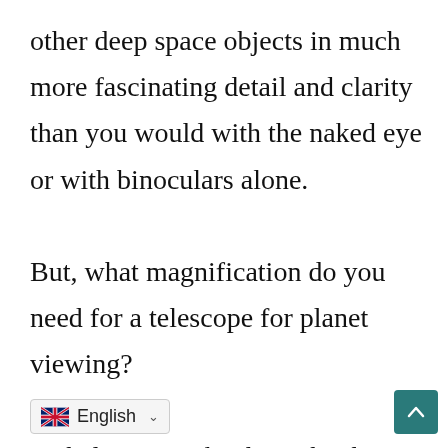other deep space objects in much more fascinating detail and clarity than you would with the naked eye or with binoculars alone.

But, what magnification do you need for a telescope for planet viewing?

To help you make the right choice for your planetary viewing, we've combed t…ng you the top five